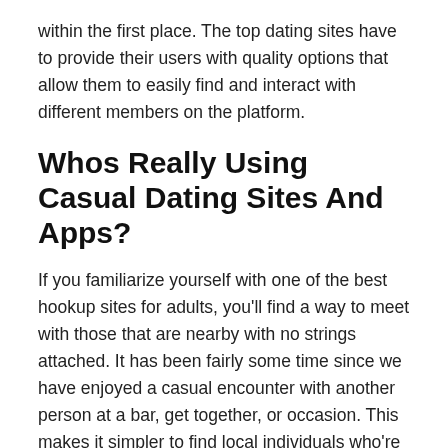within the first place. The top dating sites have to provide their users with quality options that allow them to easily find and interact with different members on the platform.
Whos Really Using Casual Dating Sites And Apps?
If you familiarize yourself with one of the best hookup sites for adults, you'll find a way to meet with those that are nearby with no strings attached. It has been fairly some time since we have enjoyed a casual encounter with another person at a bar, get together, or occasion. This makes it simpler to find local individuals who're ready for a hookup and extra. The web can be a great spot to seek for single people who discover themselves excited about casual connections. Another robust possibility when you're simply on the hunt for no-strings-attached motion is XMatch. „When it comes right down to red flags, if it sounds too good to be true